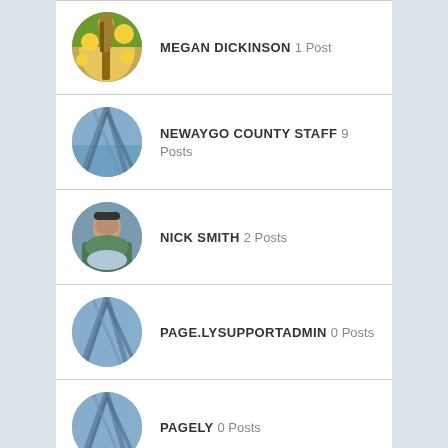MEGAN DICKINSON 1 Post
NEWAYGO COUNTY STAFF 9 Posts
NICK SMITH 2 Posts
PAGE.LYSUPPORTADMIN 0 Posts
PAGELY 0 Posts
(partial user row)